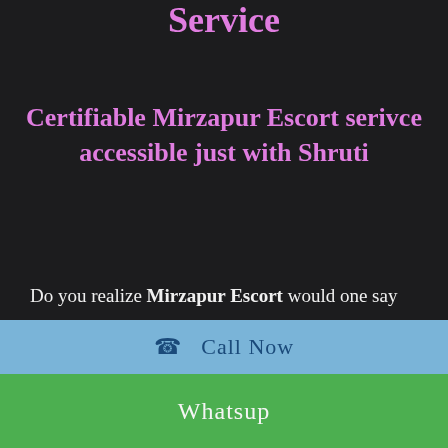Service
Certifiable Mirzapur Escort serivce accessible just with Shruti
Do you realize Mirzapur Escort would one say one are of the best escorts on the planet who can detect your emotions inside a couple of moments of the gathering? They are specialists in giving physical joy to those folks who are wanting to get physical enjoyment. These young ladies are not insatiable for cash, but rather they are
☎  Call Now
Whatsup